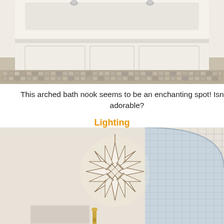[Figure (photo): Top portion of a bathroom showing a white built-in bathtub with chrome faucets, white panel surround, and a mosaic tile border along the floor.]
This arched bath nook seems to be an enchanting spot! Isn’t it adorable?
Lighting
[Figure (photo): Bathroom ceiling with a star-shaped geometric pendant light fixture (Moravian star style), an arched alcove tiled in light blue-grey mosaic tiles, and a glimpse of a gold faucet below.]